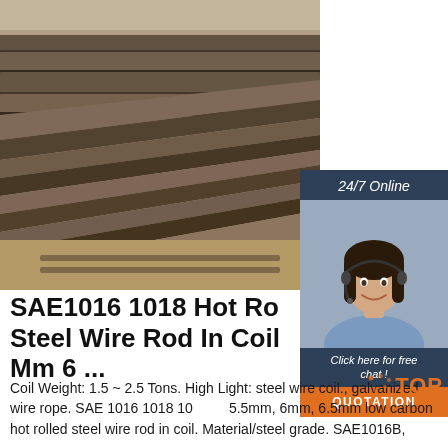[Figure (photo): Stack of hot rolled steel plates/sheets in a yard, showing layered flat steel material with a dark, rusty brown surface]
[Figure (photo): Chat widget overlay showing a female customer service agent wearing a headset, with '24/7 Online' header, 'Click here for free chat!' text, and orange QUOTATION button]
SAE1016 1018 Hot Ro Steel Wire Rod In Coil Mm 6 ...
Coil Weight: 1.5 ~ 2.5 Tons. High Light: steel wire coil., galvanized wire rope. SAE 1016 1018 1010 5.5mm, 6mm, 6.5mm low carbon hot rolled steel wire rod in coil. Material/steel grade. SAE1016B,